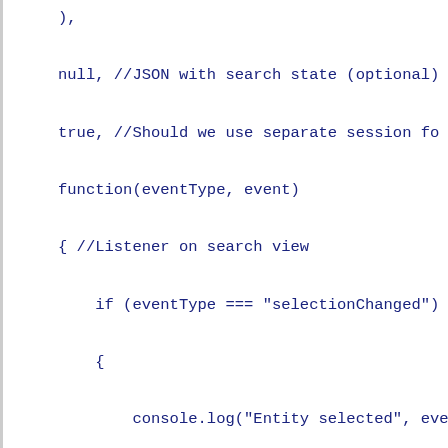),

null, //JSON with search state (optional)

true, //Should we use separate session fo

function(eventType, event)

{ //Listener on search view

    if (eventType === "selectionChanged")

    {

        console.log("Entity selected", eve

    }

    else if (eventType === "changeSearchQu